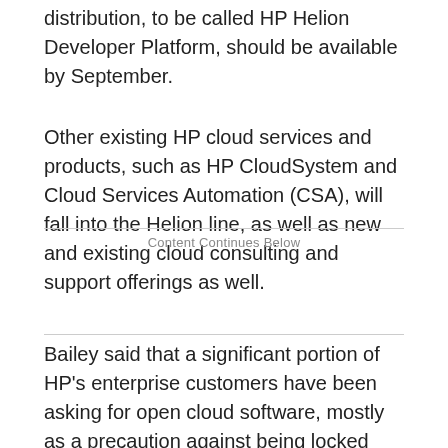distribution, to be called HP Helion Developer Platform, should be available by September.
Other existing HP cloud services and products, such as HP CloudSystem and Cloud Services Automation (CSA), will fall into the Helion line, as well as new and existing cloud consulting and support offerings as well.
Content Continues Below
Bailey said that a significant portion of HP's enterprise customers have been asking for open cloud software, mostly as a precaution against being locked into proprietary software. HP will